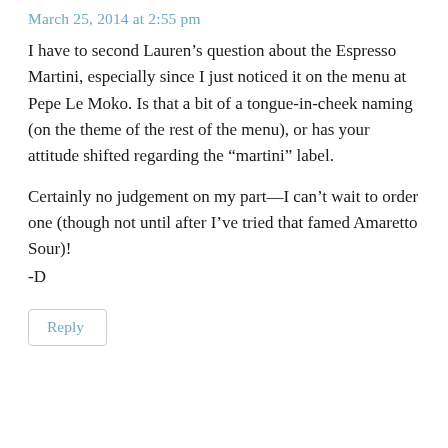March 25, 2014 at 2:55 pm
I have to second Lauren’s question about the Espresso Martini, especially since I just noticed it on the menu at Pepe Le Moko. Is that a bit of a tongue-in-cheek naming (on the theme of the rest of the menu), or has your attitude shifted regarding the “martini” label.
Certainly no judgement on my part—I can’t wait to order one (though not until after I’ve tried that famed Amaretto Sour)!
-D
Reply